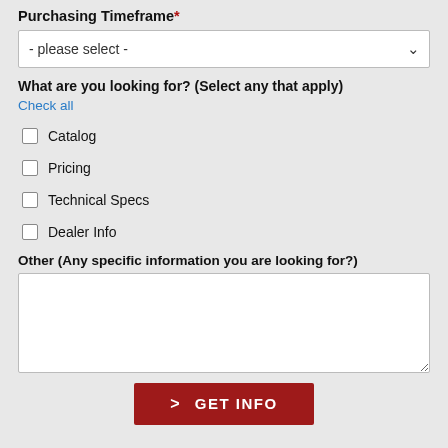Purchasing Timeframe*
[Figure (screenshot): Dropdown select element with placeholder text '- please select -']
What are you looking for? (Select any that apply)
Check all
Catalog
Pricing
Technical Specs
Dealer Info
Other (Any specific information you are looking for?)
[Figure (screenshot): Empty text area input field]
GET INFO